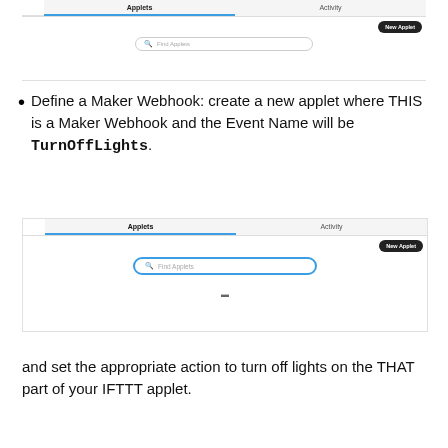[Figure (screenshot): IFTTT web interface showing Applets and Activity tabs with a search bar and New Applet button (top, partially visible)]
Define a Maker Webhook: create a new applet where THIS is a Maker Webhook and the Event Name will be TurnOffLights.
[Figure (screenshot): IFTTT web interface showing Applets and Activity tabs with an active search box (blue border) and New Applet button]
and set the appropriate action to turn off lights on the THAT part of your IFTTT applet.